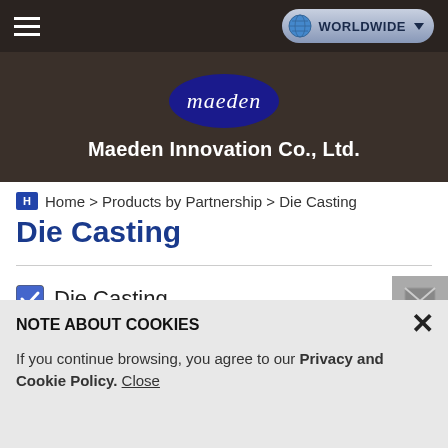WORLDWIDE
[Figure (logo): Maeden Innovation Co., Ltd. logo with blue oval and italic white text 'maeden']
Maeden Innovation Co., Ltd.
Home > Products by Partnership > Die Casting
Die Casting
Die Casting
NOTE ABOUT COOKIES
If you continue browsing, you agree to our Privacy and Cookie Policy. Close